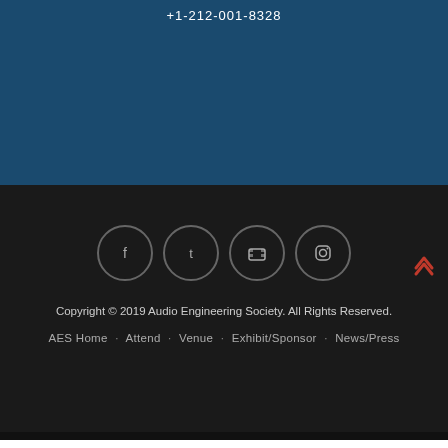+1-212-001-8328
[Figure (infographic): Four social media icon circles: Facebook (f), Twitter (bird), YouTube (camera), Instagram (camera frame)]
Copyright © 2019 Audio Engineering Society. All Rights Reserved.
AES Home | Attend | Venue | Exhibit/Sponsor | News/Press